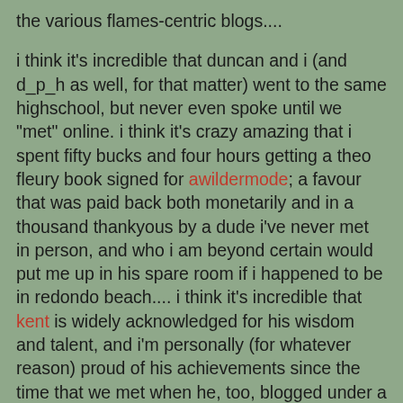the various flames-centric blogs....
i think it's incredible that duncan and i (and d_p_h as well, for that matter) went to the same highschool, but never even spoke until we "met" online. i think it's crazy amazing that i spent fifty bucks and four hours getting a theo fleury book signed for awildermode; a favour that was paid back both monetarily and in a thousand thankyous by a dude i've never met in person, and who i am beyond certain would put me up in his spare room if i happened to be in redondo beach.... i think it's incredible that kent is widely acknowledged for his wisdom and talent, and i'm personally (for whatever reason) proud of his achievements since the time that we met when he, too, blogged under a pseudonym.... ;)
maybe it's because i have waaaaay too much effin' time on my hands, or maybe it's because i consider alot of the commenters to be my comrades, but when someone gets banned from a popular forum for no reason, i take it pretty personally.... and it's because of my soft heart that today, sadly, i thrust myself (and my white flag of reason) into what i presumed would be a complete misunderstanding.....